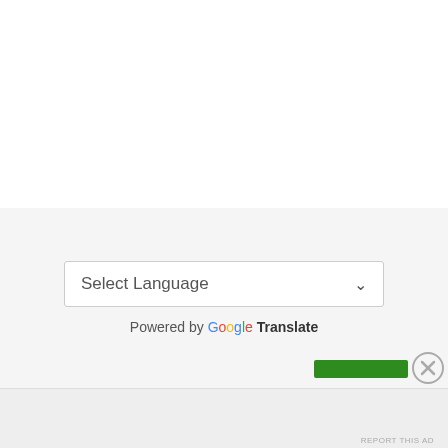[Figure (screenshot): White blank top section of a webpage]
[Figure (screenshot): Google Translate language selector widget on a light gray background, showing a 'Select Language' dropdown and 'Powered by Google Translate' text]
Advertisements
[Figure (other): Green bar advertisement placeholder with close (X) button]
REPORT THIS AD